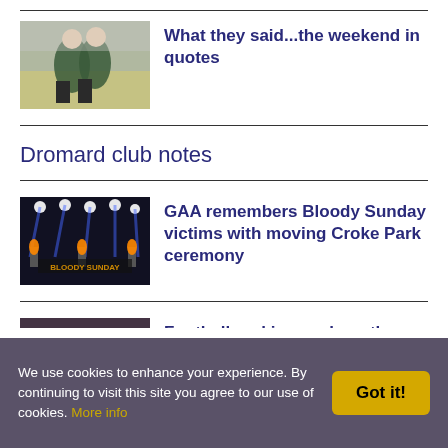[Figure (photo): Two Gaelic football players in green jerseys embracing on the pitch]
What they said...the weekend in quotes
Dromard club notes
[Figure (photo): Bloody Sunday ceremony at Croke Park with lights and torches, text BLOODY SUNDAY visible]
GAA remembers Bloody Sunday victims with moving Croke Park ceremony
[Figure (photo): Person holding up a trophy/cup at a GAA event]
Football rankings: where the counties stand now
We use cookies to enhance your experience. By continuing to visit this site you agree to our use of cookies. More info